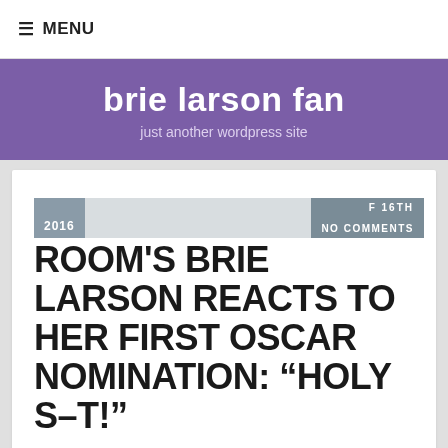≡ MENU
brie larson fan
just another wordpress site
2016   F 16TH   NO COMMENTS
ROOM'S BRIE LARSON REACTS TO HER FIRST OSCAR NOMINATION: “HOLY S–T!”
Brie Larson had a simple, but very real initial reaction when she heard her named being announced for an Oscar